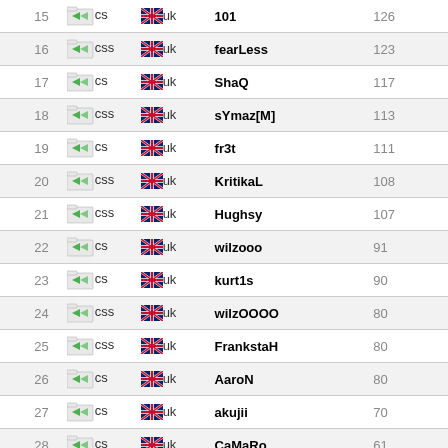| # | type | flag | name | score |
| --- | --- | --- | --- | --- |
| 15 | cs | uk | 101 | 126 |
| 16 | css | uk | fearLess | 123 |
| 17 | cs | uk | ShaQ | 117 |
| 18 | css | uk | sYmaz[M] | 113 |
| 19 | cs | uk | fr3t | 111 |
| 20 | css | uk | KritikaL | 108 |
| 21 | css | uk | Hughsy | 107 |
| 22 | cs | uk | wilzooo | 91 |
| 23 | cs | uk | kurt1s | 90 |
| 24 | css | uk | wilzOOOO | 80 |
| 25 | css | uk | FrankstaH | 80 |
| 26 | cs | uk | AaroN | 80 |
| 27 | cs | uk | akujii | 70 |
| 28 | cs | uk | CaMaRo | 61 |
| 29 | cs | uk | papa | 60 |
| 30 | cs | uk | suffz | 59 |